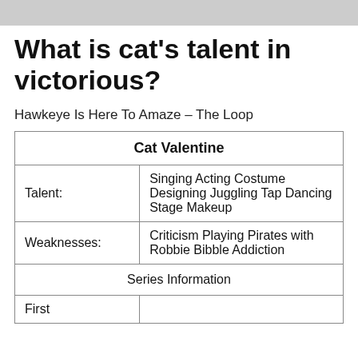What is cat's talent in victorious?
Hawkeye Is Here To Amaze – The Loop
| Cat Valentine |
| --- |
| Talent: | Singing Acting Costume Designing Juggling Tap Dancing Stage Makeup |
| Weaknesses: | Criticism Playing Pirates with Robbie Bibble Addiction |
| Series Information |  |
| First |  |